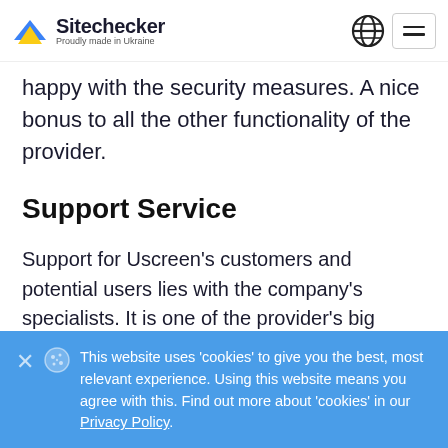Sitechecker — Proudly made in Ukraine
happy with the security measures. A nice bonus to all the other functionality of the provider.
Support Service
Support for Uscreen's customers and potential users lies with the company's specialists. It is one of the provider's big pluses, as most competitors shift the care of users to other companies.
When you communicate with the support team you can be sure that you are communicating with an experienced specialist to
This website uses 'cookies' to give you the best, most relevant experience. Using this website means you agree with this. Find out more about 'cookies' in our Privacy Policy.